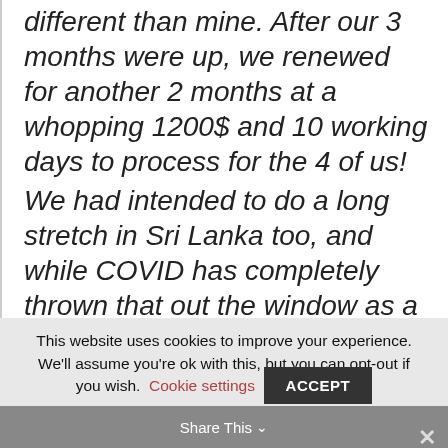different than mine. After our 3 months were up, we renewed for another 2 months at a whopping 1200$ and 10 working days to process for the 4 of us!

We had intended to do a long stretch in Sri Lanka too, and while COVID has completely thrown that out the window as a realistic possibility, I understand
This website uses cookies to improve your experience. We'll assume you're ok with this, but you can opt-out if you wish. Cookie settings ACCEPT Share This ×